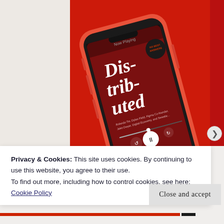[Figure (photo): A red iPhone displaying a podcast app playing 'Distributed' episode, set against a red background.]
Privacy & Cookies: This site uses cookies. By continuing to use this website, you agree to their use.
To find out more, including how to control cookies, see here: Cookie Policy
Close and accept